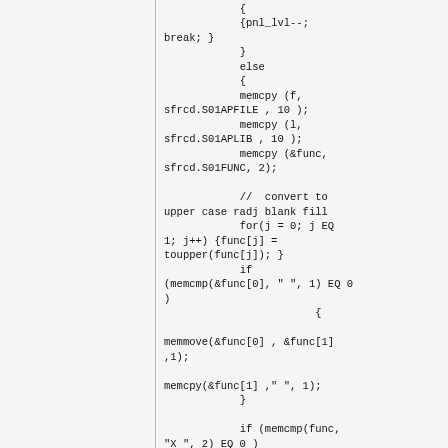{
{pnl_lvl--;
break; }
}
else
{
memcpy (f, sfrcd.S01APFILE , 10 );
memcpy (l, sfrcd.S01APLIB , 10 );
memcpy (&func, sfrcd.S01FUNC, 2);

//  convert to upper case radj blank fill
for(j = 0; j EQ 1; j++) {func[j] = toupper(func[j]); }
if (memcmp(&func[0], " ", 1) EQ 0 )
{
memmove(&func[0] , &func[1] ,1);
memcpy(&func[1] ," ", 1);
}
if (memcmp(func, "X ", 2) EQ 0 )
{